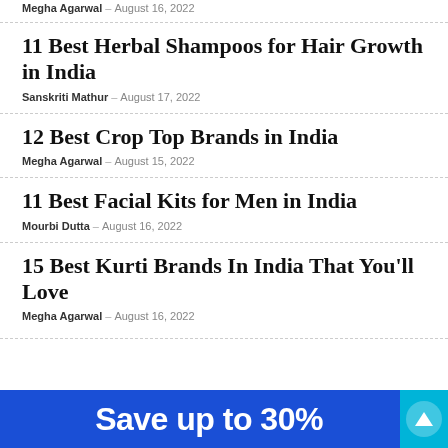Megha Agarwal – August 16, 2022
11 Best Herbal Shampoos for Hair Growth in India
Sanskriti Mathur – August 17, 2022
12 Best Crop Top Brands in India
Megha Agarwal – August 15, 2022
11 Best Facial Kits for Men in India
Mourbi Dutta – August 16, 2022
15 Best Kurti Brands In India That You'll Love
Megha Agarwal – August 16, 2022
[Figure (other): Blue advertisement banner with text 'Save up to 30%' and a cyan scroll-to-top button]